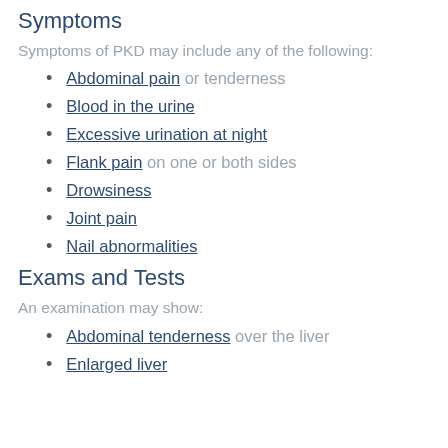Symptoms
Symptoms of PKD may include any of the following:
Abdominal pain or tenderness
Blood in the urine
Excessive urination at night
Flank pain on one or both sides
Drowsiness
Joint pain
Nail abnormalities
Exams and Tests
An examination may show:
Abdominal tenderness over the liver
Enlarged liver